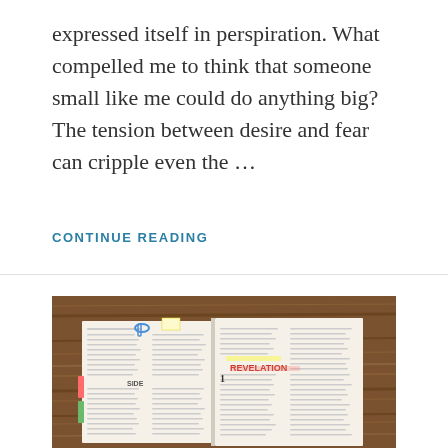expressed itself in perspiration. What compelled me to think that someone small like me could do anything big? The tension between desire and fear can cripple even the …
CONTINUE READING
[Figure (photo): An open Bible with handwritten annotations and colorful highlights lying on a wooden surface. The right page shows the book of Revelation.]